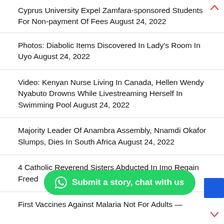Cyprus University Expel Zamfara-sponsored Students For Non-payment Of Fees August 24, 2022
Photos: Diabolic Items Discovered In Lady's Room In Uyo August 24, 2022
Video: Kenyan Nurse Living In Canada, Hellen Wendy Nyabuto Drowns While Livestreaming Herself In Swimming Pool August 24, 2022
Majority Leader Of Anambra Assembly, Nnamdi Okafor Slumps, Dies In South Africa August 24, 2022
4 Catholic Reverend Sisters Abducted In Imo Regain Freed
First Vaccines Against Malaria Not For Adults —